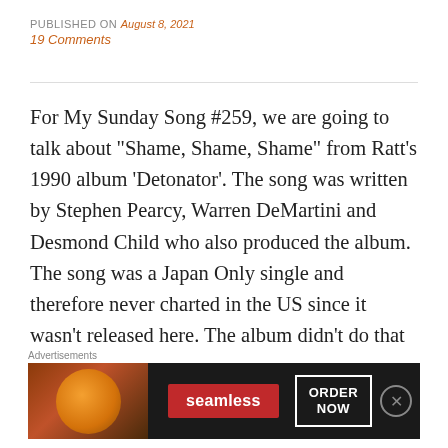PUBLISHED ON August 8, 2021
19 Comments
For My Sunday Song #259, we are going to talk about “Shame, Shame, Shame” from Ratt’s 1990 album ‘Detonator’. The song was written by Stephen Pearcy, Warren DeMartini and Desmond Child who also produced the album. The song was a Japan Only single and therefore never charted in the US since it wasn’t released here. The album didn’t do that well either only going Gold in the U.S. and hitting #23 on the charts. This surprises me as this to me is one of their best albums, if not THE BEST album they had done.
[Figure (advertisement): Seamless food delivery advertisement banner with pizza image, Seamless logo button in red, and ORDER NOW button in white border on dark background]